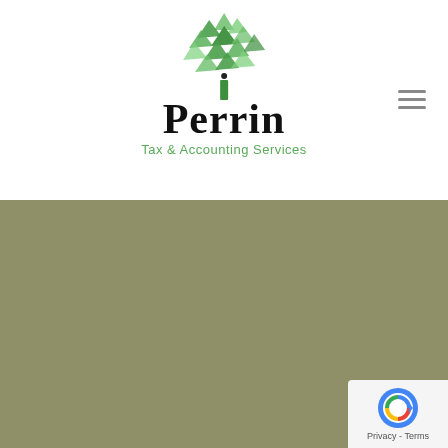[Figure (logo): Perrin Tax & Accounting Services logo with geometric green tree and company name]
Contact
© 2022 Perrin Tax & Accounting, LLC – All rights reserved.